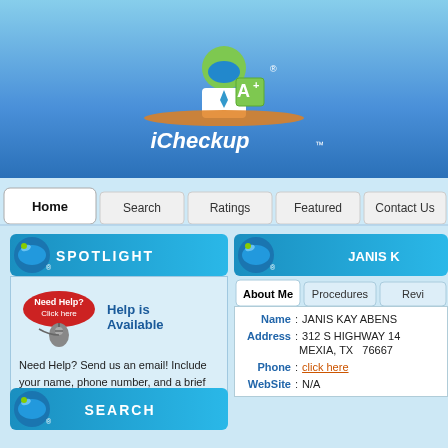[Figure (logo): iCheckup logo with animated character holding an A+ sign, on blue gradient background]
[Figure (screenshot): Navigation bar with tabs: Home (active), Search, Ratings, Featured, Contact Us]
[Figure (illustration): iCheckup Spotlight section header with blue ball icon]
SPOTLIGHT
[Figure (illustration): Need Help? Click here red oval button with mouse graphic]
Help is Available
Need Help?  Send us an email!  Include your name, phone number, and a brief description of the probl   More...
[Figure (illustration): iCheckup SEARCH section header with blue ball icon]
SEARCH
[Figure (illustration): iCheckup JANIS section header with blue ball icon on right panel]
JANIS K
[Figure (screenshot): Profile tabs: About Me (active), Procedures, Revi(ews)]
| Field | Colon | Value |
| --- | --- | --- |
| Name | : | JANIS KAY ABENS |
| Address | : | 312 S HIGHWAY 14 |
|  |  | MEXIA, TX  76667 |
| Phone | : | click here |
| WebSite | : | N/A |